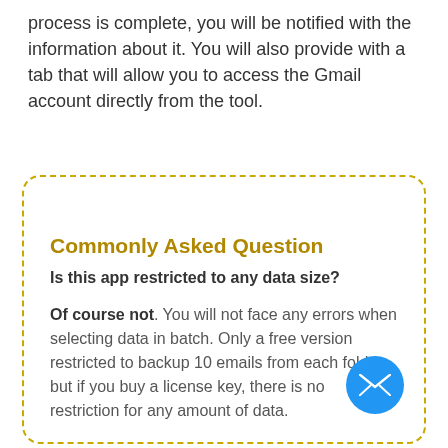process is complete, you will be notified with the information about it. You will also provide with a tab that will allow you to access the Gmail account directly from the tool.
Commonly Asked Question
Is this app restricted to any data size?
Of course not. You will not face any errors when selecting data in batch. Only a free version restricted to backup 10 emails from each folder, but if you buy a license key, there is no restriction for any amount of data.